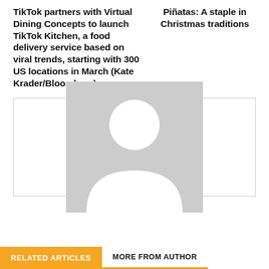TikTok partners with Virtual Dining Concepts to launch TikTok Kitchen, a food delivery service based on viral trends, starting with 300 US locations in March (Kate Krader/Bloomberg)
Piñatas: A staple in Christmas traditions
[Figure (photo): Placeholder person/author silhouette image in a light gray box]
RELATED ARTICLES
MORE FROM AUTHOR